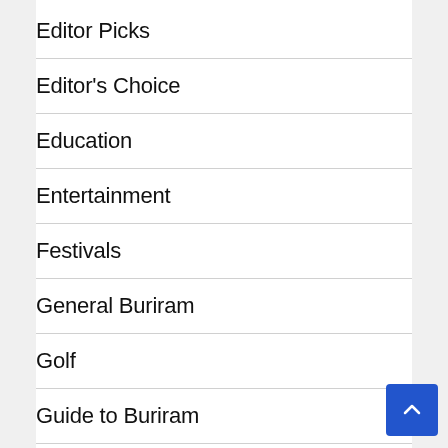Editor Picks
Editor's Choice
Education
Entertainment
Festivals
General Buriram
Golf
Guide to Buriram
Guide To Khon Kaen